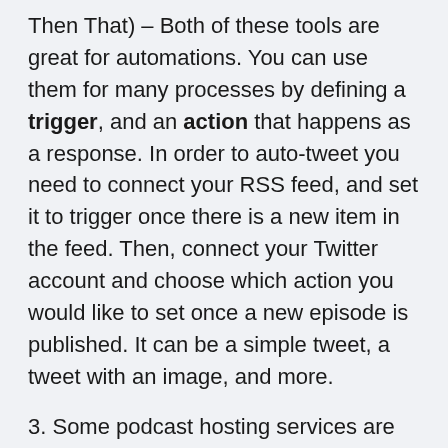Then That) – Both of these tools are great for automations. You can use them for many processes by defining a trigger, and an action that happens as a response. In order to auto-tweet you need to connect your RSS feed, and set it to trigger once there is a new item in the feed. Then, connect your Twitter account and choose which action you would like to set once a new episode is published. It can be a simple tweet, a tweet with an image, and more.
3. Some podcast hosting services are also allowing auto-tweet. Acast, Podbean, and Libsyn, are some examples. With some podcast hosts, you can share manually each episode from the list of all your episodes, but that's not ideal as it